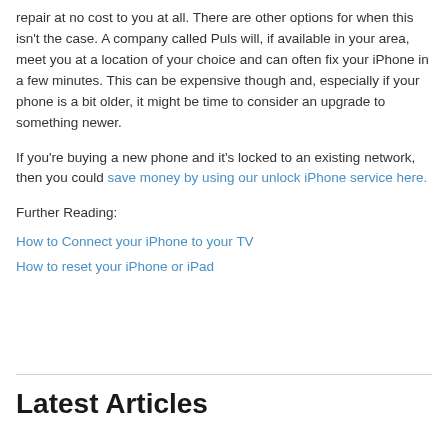repair at no cost to you at all. There are other options for when this isn't the case. A company called Puls will, if available in your area, meet you at a location of your choice and can often fix your iPhone in a few minutes. This can be expensive though and, especially if your phone is a bit older, it might be time to consider an upgrade to something newer.
If you're buying a new phone and it's locked to an existing network, then you could save money by using our unlock iPhone service here.
Further Reading:
How to Connect your iPhone to your TV
How to reset your iPhone or iPad
Latest Articles